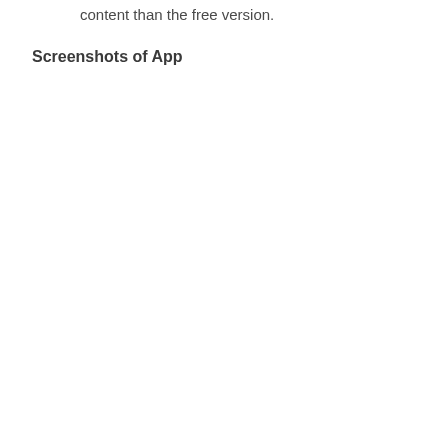content than the free version.
Screenshots of App